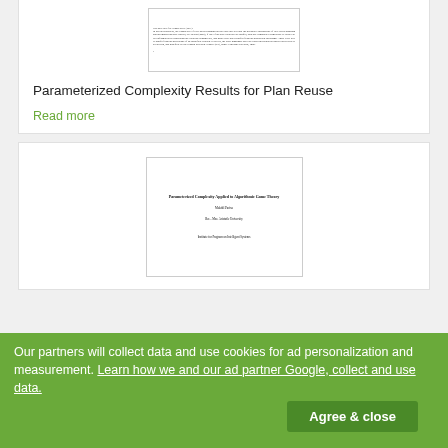[Figure (other): Thumbnail of a scanned academic paper page with dense blurry text]
Parameterized Complexity Results for Plan Reuse
Read more
[Figure (other): Thumbnail of paper cover: 'Parameterized Complexity Applied to Algorithmic Game Theory' by Maktbl Parisa, Ben... Msc. Aristotle University, Institute for Program on Intelligent Systems]
Our partners will collect data and use cookies for ad personalization and measurement. Learn how we and our ad partner Google, collect and use data. [Agree & close button]